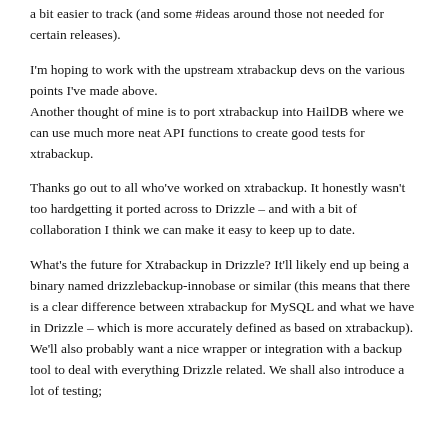a bit easier to track (and some #ideas around those not needed for certain releases).
I'm hoping to work with the upstream xtrabackup devs on the various points I've made above. Another thought of mine is to port xtrabackup into HailDB where we can use much more neat API functions to create good tests for xtrabackup.
Thanks go out to all who've worked on xtrabackup. It honestly wasn't too hardgetting it ported across to Drizzle – and with a bit of collaboration I think we can make it easy to keep up to date.
What's the future for Xtrabackup in Drizzle? It'll likely end up being a binary named drizzlebackup-innobase or similar (this means that there is a clear difference between xtrabackup for MySQL and what we have in Drizzle – which is more accurately defined as based on xtrabackup). We'll also probably want a nice wrapper or integration with a backup tool to deal with everything Drizzle related. We shall also introduce a lot of testing;